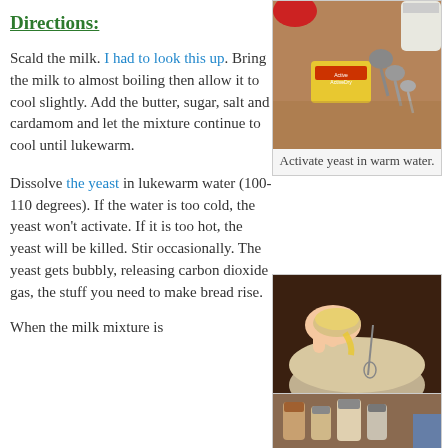Directions:
Scald the milk. I had to look this up. Bring the milk to almost boiling then allow it to cool slightly. Add the butter, sugar, salt and cardamom and let the mixture continue to cool until lukewarm.
[Figure (photo): Measuring spoons and yeast packet on a wooden surface with containers in background]
Activate yeast in warm water.
Dissolve the yeast in lukewarm water (100-110 degrees). If the water is too cold, the yeast won't activate. If it is too hot, the yeast will be killed. Stir occasionally. The yeast gets bubbly, releasing carbon dioxide gas, the stuff you need to make bread rise.
[Figure (photo): Hand pouring beaten eggs into a bowl with milk mixture and a whisk]
Add egg and yeast to cooled milk.
When the milk mixture is
[Figure (photo): Spice jars and containers on a kitchen counter]